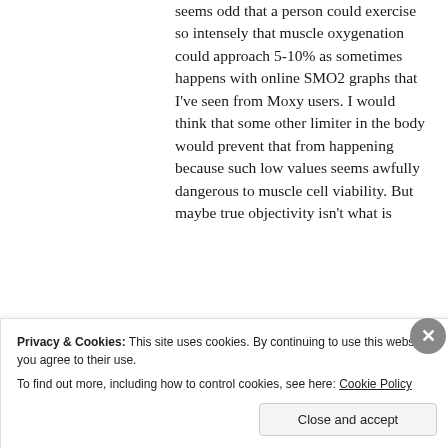seems odd that a person could exercise so intensely that muscle oxygenation could approach 5-10% as sometimes happens with online SMO2 graphs that I've seen from Moxy users. I would think that some other limiter in the body would prevent that from happening because such low values seems awfully dangerous to muscle cell viability. But maybe true objectivity isn't what is
Privacy & Cookies: This site uses cookies. By continuing to use this website, you agree to their use.
To find out more, including how to control cookies, see here: Cookie Policy